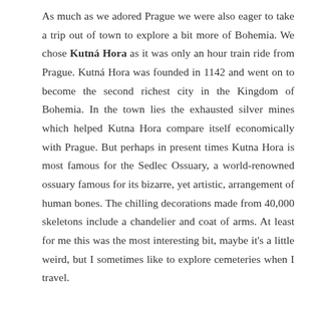As much as we adored Prague we were also eager to take a trip out of town to explore a bit more of Bohemia. We chose Kutná Hora as it was only an hour train ride from Prague. Kutná Hora was founded in 1142 and went on to become the second richest city in the Kingdom of Bohemia. In the town lies the exhausted silver mines which helped Kutna Hora compare itself economically with Prague. But perhaps in present times Kutna Hora is most famous for the Sedlec Ossuary, a world-renowned ossuary famous for its bizarre, yet artistic, arrangement of human bones. The chilling decorations made from 40,000 skeletons include a chandelier and coat of arms. At least for me this was the most interesting bit, maybe it's a little weird, but I sometimes like to explore cemeteries when I travel.